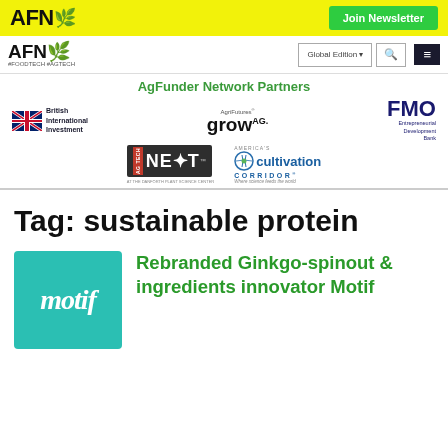AFN | Join Newsletter
[Figure (logo): AFN navigation bar with Global Edition dropdown, search icon, and hamburger menu]
AgFunder Network Partners
[Figure (logo): Partner logos: British International Investment, AgriFutures grow AG., FMO Entrepreneurial Development Bank, AG Tech NEXT at The Danforth Plant Science Center, America's Cultivation Corridor]
Tag: sustainable protein
[Figure (logo): Motif logo - teal square with italic motif text]
Rebranded Ginkgo-spinout & ingredients innovator Motif